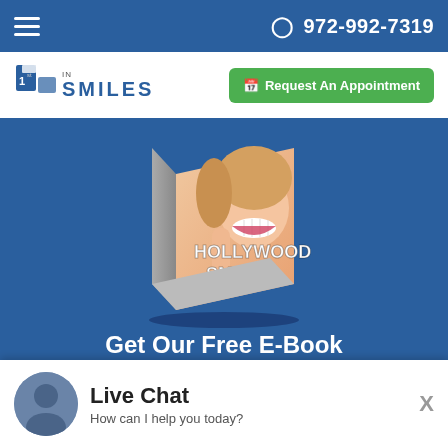☎ 972-992-7319
[Figure (logo): 1st In Smiles dental practice logo with stylized number/letter icon and 'IN SMILES' text]
[Figure (illustration): Hollywood Smile e-book cover showing a woman with a bright smile and 'HOLLYWOOD SMILE' text overlaid]
Get Our Free E-Book
Find out how to get a Hollywood Smile! Fill out the form below for instant access
[Figure (screenshot): Live Chat widget overlay with avatar, 'Live Chat' title and 'How can I help you today?' subtitle, and X close button]